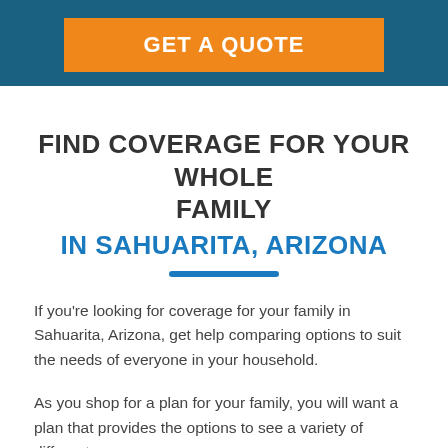GET A QUOTE
FIND COVERAGE FOR YOUR WHOLE FAMILY IN SAHUARITA, ARIZONA
If you're looking for coverage for your family in Sahuarita, Arizona, get help comparing options to suit the needs of everyone in your household.
As you shop for a plan for your family, you will want a plan that provides the options to see a variety of different